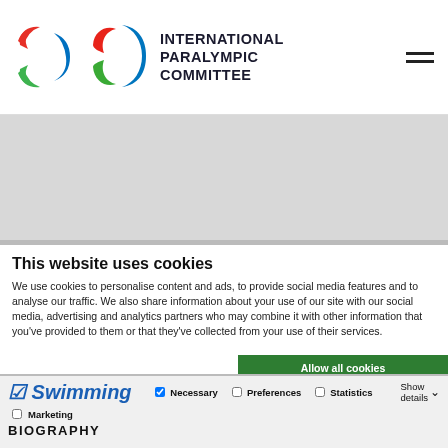[Figure (logo): International Paralympic Committee logo with Agitos symbol (red, blue, green arcs) and bold text 'INTERNATIONAL PARALYMPIC COMMITTEE']
This website uses cookies
We use cookies to personalise content and ads, to provide social media features and to analyse our traffic. We also share information about your use of our site with our social media, advertising and analytics partners who may combine it with other information that you've provided to them or that they've collected from your use of their services.
Allow all cookies
Allow selection
Use necessary cookies only
Swimming
Necessary  Preferences  Statistics
Show details
Marketing
BIOGRAPHY